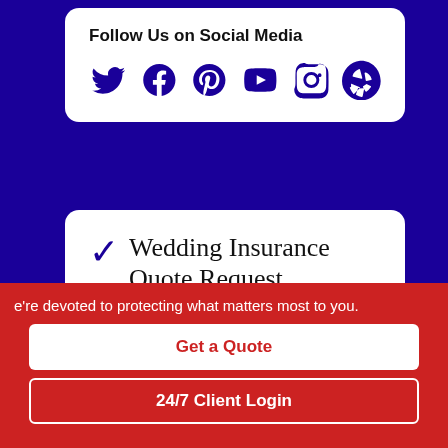Follow Us on Social Media
[Figure (illustration): Social media icons: Twitter, Facebook, Pinterest, YouTube, Instagram, Yelp — all in dark navy blue]
Wedding Insurance Quote Request
As an independent agency, we are here to help you find the right coverage.
e're devoted to protecting what matters most to you.
Get a Quote
24/7 Client Login